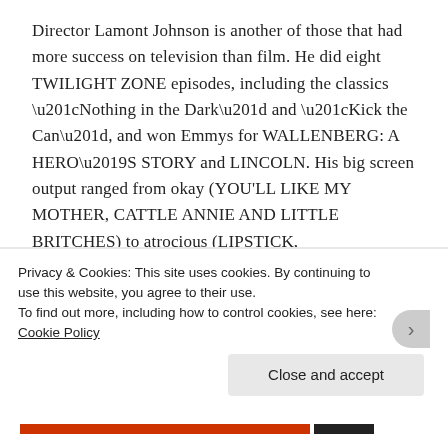Director Lamont Johnson is another of those that had more success on television than film. He did eight TWILIGHT ZONE episodes, including the classics “Nothing in the Dark” and “Kick the Can”, and won Emmys for WALLENBERG: A HERO’S STORY and LINCOLN. His big screen output ranged from okay (YOU'LL LIKE MY MOTHER, CATTLE ANNIE AND LITTLE BRITCHES) to atrocious (LIPSTICK, SPACEHUNTER: ADVENTURES IN THE FORBIDDEN ZONE). THE LAST AMERICAN HERO is without question his finest feature. The exciting action on the
Privacy & Cookies: This site uses cookies. By continuing to use this website, you agree to their use.
To find out more, including how to control cookies, see here: Cookie Policy
Close and accept